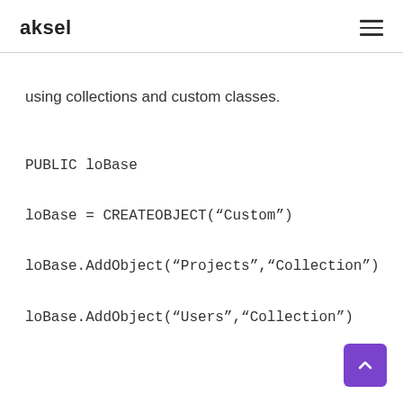aksel
using collections and custom classes.
PUBLIC loBase
loBase = CREATEOBJECT(“Custom”)
loBase.AddObject(“Projects”,“Collection”)
loBase.AddObject(“Users”,“Collection”)